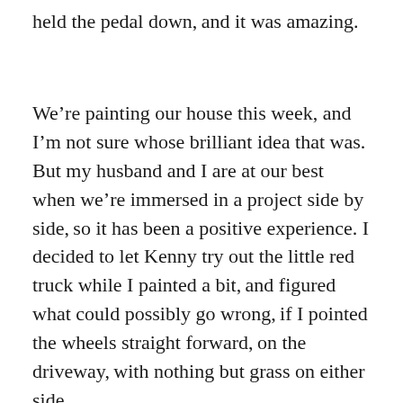held the pedal down, and it was amazing.
We’re painting our house this week, and I’m not sure whose brilliant idea that was. But my husband and I are at our best when we’re immersed in a project side by side, so it has been a positive experience. I decided to let Kenny try out the little red truck while I painted a bit, and figured what could possibly go wrong, if I pointed the wheels straight forward, on the driveway, with nothing but grass on either side.